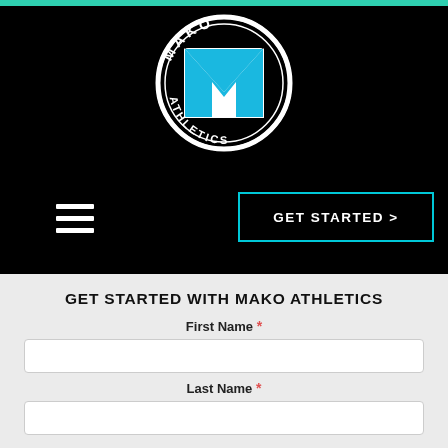[Figure (logo): Mako Athletics circular logo with a blue M/checkmark shape in the center, white text reading MAKO on top and ATHLETICS on bottom, black background]
GET STARTED >
GET STARTED WITH MAKO ATHLETICS
First Name *
Last Name *
Email *